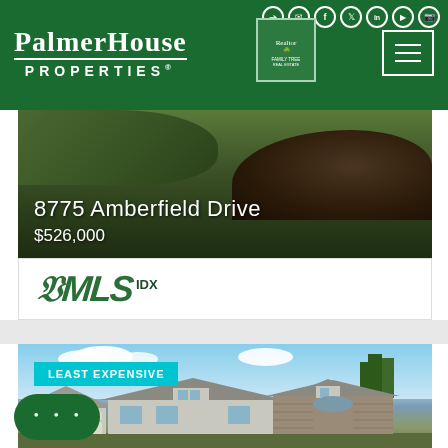PalmerHouse Properties header with navigation icons
[Figure (photo): Property photo of 8775 Amberfield Drive showing landscape/terrain with dark hill]
8775 Amberfield Drive
$526,000
[Figure (logo): FMLS IDX logo in green]
[Figure (photo): House exterior photo showing a colonial-style home with gabled roof, tagged as LEAST EXPENSIVE]